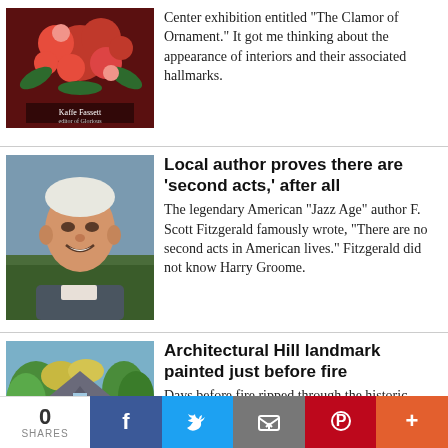Center exhibition entitled “The Clamor of Ornament.” It got me thinking about the appearance of interiors and their associated hallmarks.
[Figure (photo): Book cover with floral design by Kaffe Fassett]
Local author proves there are ‘second acts,’ after all
The legendary American “Jazz Age” author F. Scott Fitzgerald famously wrote, “There are no second acts in American lives.” Fitzgerald did not know Harry Groome.
[Figure (photo): Portrait of an older smiling man outdoors]
Architectural Hill landmark painted just before fire
Days before fire ripped through the historic Hiram Lodge on Germantown Avenue last week, local
[Figure (photo): Painting of a historic building/lodge with colorful foliage]
0 SHARES  [Facebook] [Twitter] [Email] [Pinterest] [More]